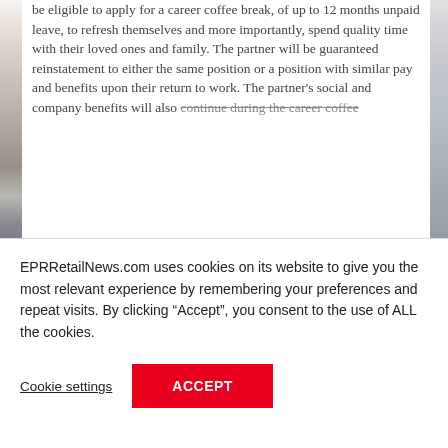be eligible to apply for a career coffee break, of up to 12 months unpaid leave, to refresh themselves and more importantly, spend quality time with their loved ones and family. The partner will be guaranteed reinstatement to either the same position or a position with similar pay and benefits upon their return to work. The partner's social and company benefits will also continue during the career coffee
EPRRetailNews.com uses cookies on its website to give you the most relevant experience by remembering your preferences and repeat visits. By clicking “Accept”, you consent to the use of ALL the cookies.
Cookie settings
ACCEPT